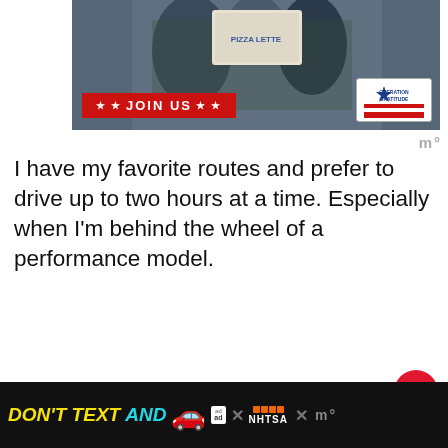[Figure (photo): Advertisement image showing people in military camouflage uniforms. Red banner with 'JOIN US' text and Operation Gratitude logo.]
I have my favorite routes and prefer to drive up to two hours at a time. Especially when I'm behind the wheel of a performance model.
In all, I try to drive each car for at least five hours or for about 250 miles. Somehow, even when two cars are in my possession for the week, I manage to get the job d...
I also keep a sharp eye out on the weather...
[Figure (infographic): Bottom advertisement banner: DON'T TEXT AND [car emoji] with NHTSA branding. Black background with yellow and cyan text.]